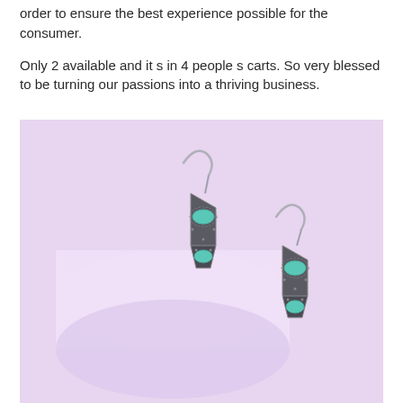order to ensure the best experience possible for the consumer.
Only 2 available and it s in 4 people s carts. So very blessed to be turning our passions into a thriving business.
[Figure (photo): Photo of two ornate silver drop earrings with turquoise oval stones, displayed against a lavender/purple background with a cylindrical prop.]